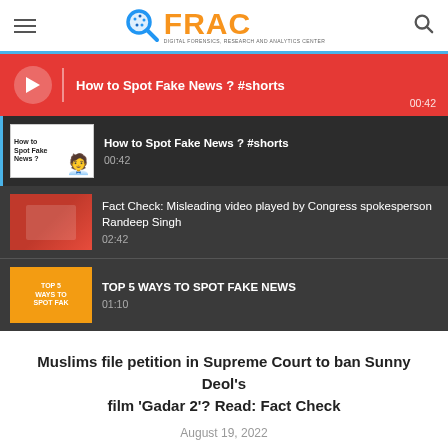[Figure (logo): FRAC - Digital Forensics, Research and Analytics Center logo with blue magnifying glass icon and orange FRAC text]
[Figure (screenshot): Red video player bar showing 'How to Spot Fake News ? #shorts' with play button, divider, and duration 00:42]
[Figure (screenshot): Dark playlist panel with three video items: 1) How to Spot Fake News ? #shorts (00:42), 2) Fact Check: Misleading video played by Congress spokesperson Randeep Singh (02:42), 3) TOP 5 WAYS TO SPOT FAKE NEWS (01:10)]
Muslims file petition in Supreme Court to ban Sunny Deol’s film ‘Gadar 2’? Read: Fact Check
August 19, 2022